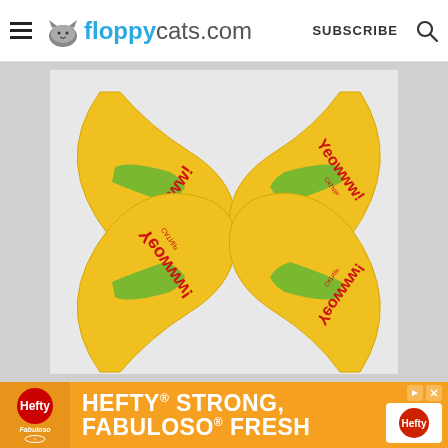floppycats.com  SUBSCRIBE
[Figure (photo): Four yellow banana-shaped cat toys branded 'YEOWWW! CATNIP', arranged in a symmetrical pattern with two right-side up on top and two upside-down reflections on bottom, against a light gray background.]
[Figure (photo): Advertisement banner for Hefty featuring 'HEFTY STRONG, FABULOSO FRESH' text in white on orange background with Hefty and Fabuloso product logos.]